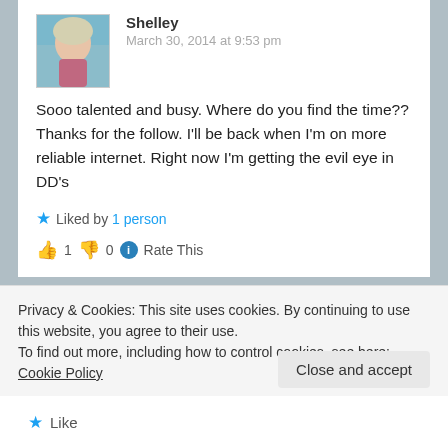Shelley
March 30, 2014 at 9:53 pm
Sooo talented and busy. Where do you find the time?? Thanks for the follow. I'll be back when I'm on more reliable internet. Right now I'm getting the evil eye in DD's
Liked by 1 person
👍 1 👎 0 ℹ Rate This
lauriann
Privacy & Cookies: This site uses cookies. By continuing to use this website, you agree to their use. To find out more, including how to control cookies, see here: Cookie Policy
Close and accept
Like